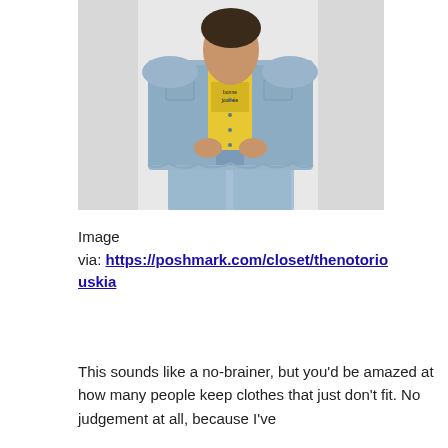[Figure (photo): A person wearing an oversized light blue denim jacket over a yellow graphic t-shirt, paired with light blue jeans, standing against a white/light gray background.]
Image via: https://poshmark.com/closet/thenotoriouskia
This sounds like a no-brainer, but you'd be amazed at how many people keep clothes that just don't fit. No judgement at all, because I've